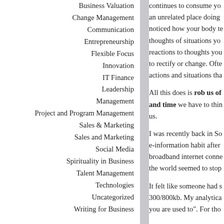Business Valuation
Change Management
Communication
Entrepreneurship
Flexible Focus
Innovation
IT Finance
Leadership
Management
Project and Program Management
Sales & Marketing
Sales and Marketing
Social Media
Spirituality in Business
Talent Management
Technologies
Uncategorized
Writing for Business
continues to consume yo an unrelated place doing noticed how your body te thoughts of situations yo reactions to thoughts you to rectify or change. Ofte actions and situations tha
All this does is rob us of and time we have to thin us.
I was recently back in So e-information habit after broadband internet conne the world seemed to stop
It felt like someone had s 300/800kb. My analytica you are used to". For tho